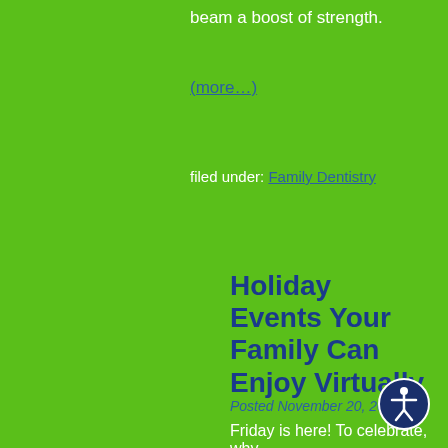beam a boost of strength.
(more…)
filed under: Family Dentistry
Holiday Events Your Family Can Enjoy Virtually
Posted November 20, 2020
Friday is here! To celebrate, why